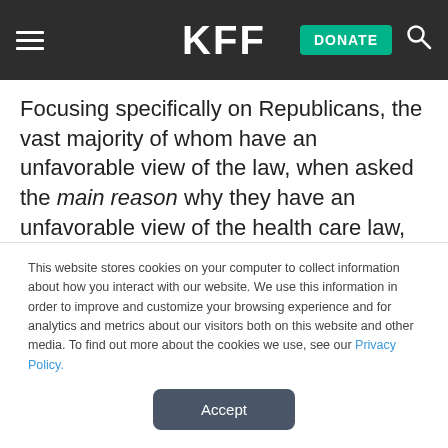KFF — DONATE
Focusing specifically on Republicans, the vast majority of whom have an unfavorable view of the law, when asked the main reason why they have an unfavorable view of the health care law, about three in ten said it is because they believe the law gives government too big a role in the health care system (31 percent) or say it is just
This website stores cookies on your computer to collect information about how you interact with our website. We use this information in order to improve and customize your browsing experience and for analytics and metrics about our visitors both on this website and other media. To find out more about the cookies we use, see our Privacy Policy.
Accept